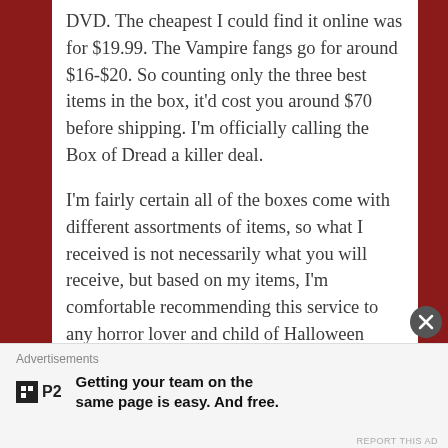DVD. The cheapest I could find it online was for $19.99. The Vampire fangs go for around $16-$20. So counting only the three best items in the box, it'd cost you around $70 before shipping. I'm officially calling the Box of Dread a killer deal.
I'm fairly certain all of the boxes come with different assortments of items, so what I received is not necessarily what you will receive, but based on my items, I'm comfortable recommending this service to any horror lover and child of Halloween
Advertisements
Getting your team on the same page is easy. And free.